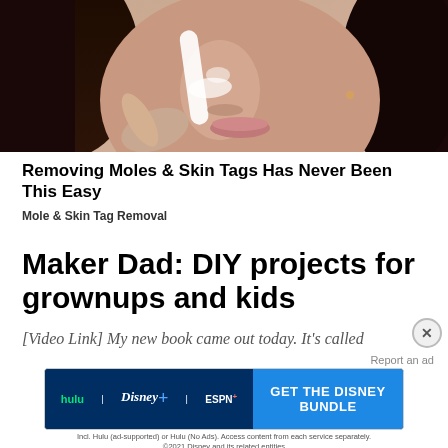[Figure (photo): Close-up photo of a woman's face with dark hair applying a white strip or cream to her nose area, used as an advertisement image for mole and skin tag removal.]
Removing Moles & Skin Tags Has Never Been This Easy
Mole & Skin Tag Removal
Maker Dad: DIY projects for grownups and kids
[Video Link] My new book came out today. It's called
[Figure (screenshot): Disney Bundle advertisement banner showing Hulu, Disney+, and ESPN+ logos with 'GET THE DISNEY BUNDLE' call to action in blue. Fine print reads: Incl. Hulu (ad-supported) or Hulu (No Ads). Access content from each service separately. ©2021 Disney and its related entities]
Report an ad